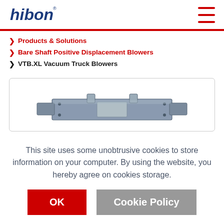[Figure (logo): Hibon company logo in blue italic bold text with registered trademark symbol]
> Products & Solutions
> Bare Shaft Positive Displacement Blowers
> VTB.XL Vacuum Truck Blowers
[Figure (photo): Photo of a VTB.XL Vacuum Truck Blower — a metallic industrial blower unit shown in partial view]
This site uses some unobtrusive cookies to store information on your computer. By using the website, you hereby agree on cookies storage.
OK
Cookie Policy